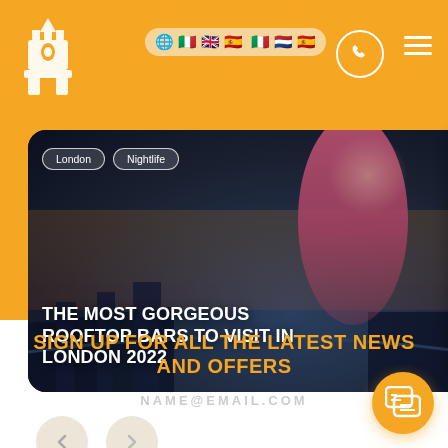[Figure (screenshot): Website header with orange background, logo on left, language flag icons, phone icon, and hamburger menu on right]
[Figure (photo): Carousel card showing a woman in red dress against a London nighttime cityscape with title 'THE MOST GORGEOUS ROOFTOP BARS TO VISIT IN LONDON 2022' and tags 'London' and 'Nightlife']
THE MOST GORGEOUS ROOFTOP BARS TO VISIT IN LONDON 2022
[Figure (photo): Partially visible second carousel card showing 'UNMISSA... LONDON [UPDATE...' title]
[Figure (screenshot): Navigation arrows (left and right) for carousel]
SIGN UP FOR ALL THE LATEST NEWS AND OFFERS
NAME@EMAIL.COM